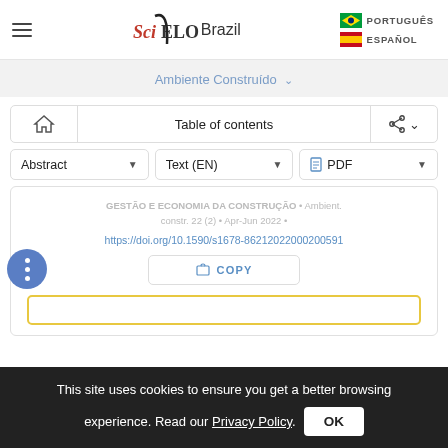[Figure (screenshot): SciELO Brazil logo with hamburger menu and language options (PORTUGUÊS, ESPAÑOL)]
Ambiente Construído ˅
Table of contents
Abstract ▼  Text (EN) ▼  PDF ▼
GESTÃO E ECONOMIA DA CONSTRUÇÃO • Ambient. constr. 22 (2) • Apr-Jun 2022 •
https://doi.org/10.1590/s1678-86212022000200591
🔗 COPY
This site uses cookies to ensure you get a better browsing experience. Read our Privacy Policy.
OK